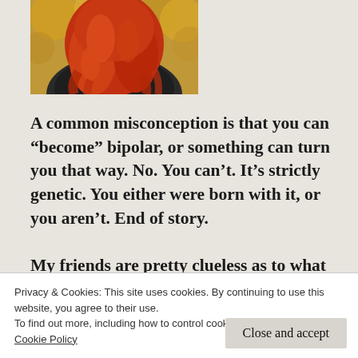[Figure (photo): Person with red/orange hair seen from behind, in an outdoor autumn setting]
A common misconception is that you can “become” bipolar, or something can turn you that way. No. You can’t. It’s strictly genetic. You either were born with it, or you aren’t. End of story.
My friends are pretty clueless as to what bipolar disorder is or how bad it can be. Sure, people
is so bipolar!” without having a clue as to what
Privacy & Cookies: This site uses cookies. By continuing to use this website, you agree to their use.
To find out more, including how to control cookies, see here:
Cookie Policy
Close and accept